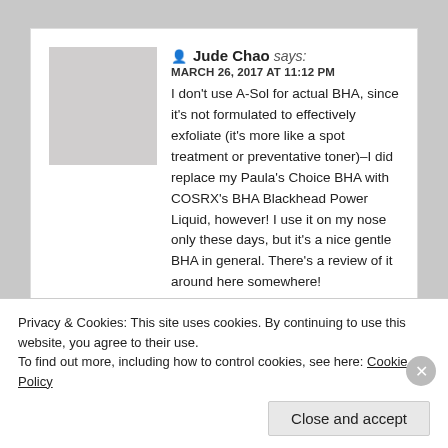[Figure (photo): Profile photo of a young Asian woman with dark hair, resting her hand near her face, against a light background.]
Jude Chao says: MARCH 26, 2017 AT 11:12 PM I don't use A-Sol for actual BHA, since it's not formulated to effectively exfoliate (it's more like a spot treatment or preventative toner)–I did replace my Paula's Choice BHA with COSRX's BHA Blackhead Power Liquid, however! I use it on my nose only these days, but it's a nice gentle BHA in general. There's a review of it around here somewhere!
★ Like
Privacy & Cookies: This site uses cookies. By continuing to use this website, you agree to their use. To find out more, including how to control cookies, see here: Cookie Policy
Close and accept